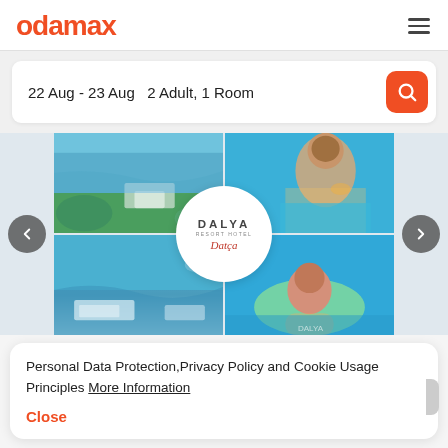odamax
22 Aug - 23 Aug   2 Adult, 1 Room
[Figure (photo): Hotel photo collage for Dalya Resort Hotel showing aerial coastal view, woman in pool, coastal view, and child with floatie, with Dalya resort logo in center]
Personal Data Protection,Privacy Policy and Cookie Usage Principles More Information
Close
iskele mahallesi 30 sokak no: 5 Muğla / Türkiye